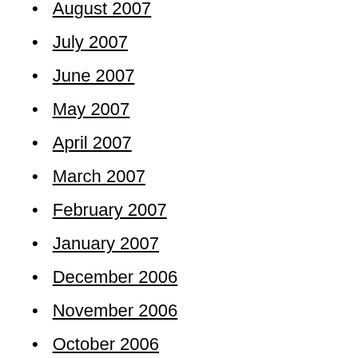August 2007
July 2007
June 2007
May 2007
April 2007
March 2007
February 2007
January 2007
December 2006
November 2006
October 2006
September 2006
August 2006
July 2006
June 2006
May 2006
April 2006
March 2006
February 2006
January 2006
December 2005